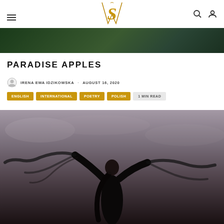≡  [VS Logo]  🔍 👤
[Figure (photo): Dark green tropical leaves background image strip]
PARADISE APPLES
IRENA EWA IDZIKOWSKA · AUGUST 16, 2020
ENGLISH
INTERNATIONAL
POETRY
POLISH
1 MIN READ
[Figure (photo): Woman in black dress holding flowing black sheer fabric against a cloudy sky backdrop]